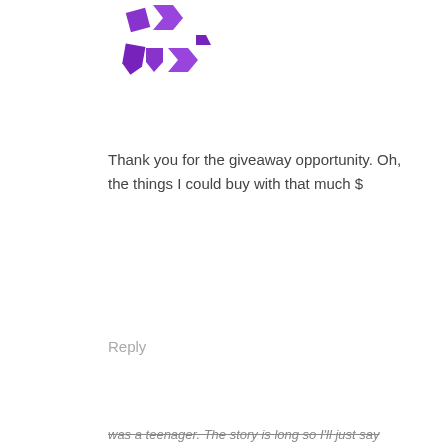[Figure (logo): Purple geometric logo made of angular shapes resembling origami/arrow forms]
Thank you for the giveaway opportunity. Oh, the things I could buy with that much $
Reply
[Figure (photo): Thumbnail photo showing purple flowers and green bamboo in a garden]
cathy french says
Privacy & Cookies: This site uses cookies. By continuing to use this website, you agree to their use.
To find out more, including how to control cookies, see here:
Cookie Policy
Close and accept
was a teenager. The story is long so I'll just say